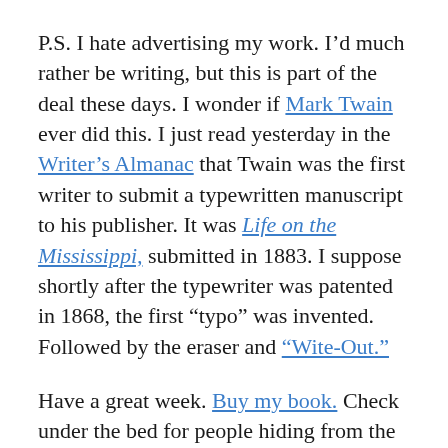P.S. I hate advertising my work. I’d much rather be writing, but this is part of the deal these days. I wonder if Mark Twain ever did this. I just read yesterday in the Writer’s Almanac that Twain was the first writer to submit a typewritten manuscript to his publisher. It was Life on the Mississippi, submitted in 1883. I suppose shortly after the typewriter was patented in 1868, the first “typo” was invented. Followed by the eraser and “Wite-Out.”
Have a great week. Buy my book. Check under the bed for people hiding from the Census.